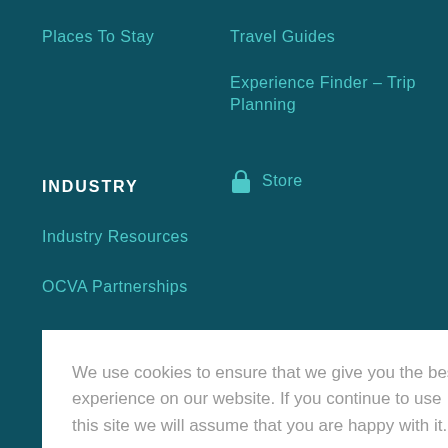Places To Stay
Travel Guides
Experience Finder – Trip Planning
INDUSTRY
Store
Industry Resources
OCVA Partnerships
t Visitors Association
ivacy
We use cookies to ensure that we give you the best experience on our website. If you continue to use this site we will assume that you are happy with it.
OK